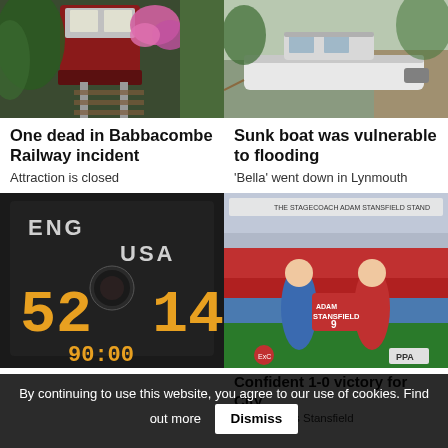[Figure (photo): Babbacombe Railway cliff railway train on tracks with pink flowers and greenery]
[Figure (photo): Sunk boat moored on riverside, white motor boat on gravel bank]
One dead in Babbacombe Railway incident
Attraction is closed
Sunk boat was vulnerable to flooding
'Bella' went down in Lynmouth
[Figure (photo): Scoreboard showing ENG 52 USA 14 with timer at 90:00]
[Figure (photo): Two football players holding Stansfield number 9 red and white jersey at a football stadium]
Confident 1-0 victory for City
Fans rock as Stansfield
By continuing to use this website, you agree to our use of cookies. Find out more